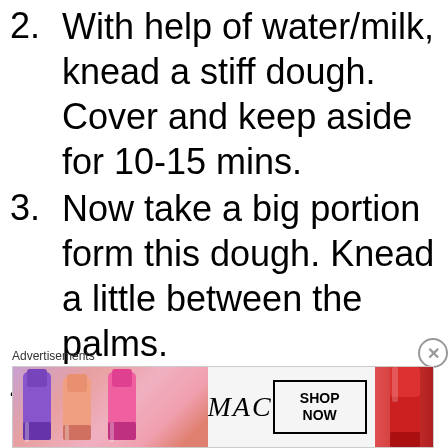2. With help of water/milk, knead a stiff dough. Cover and keep aside for 10-15 mins.
3. Now take a big portion form this dough. Knead a little between the palms.
4. With help of roll pin , roll into a thick and big roti.
Advertisements
[Figure (photo): MAC cosmetics advertisement showing colorful lipsticks with MAC logo and SHOP NOW button]